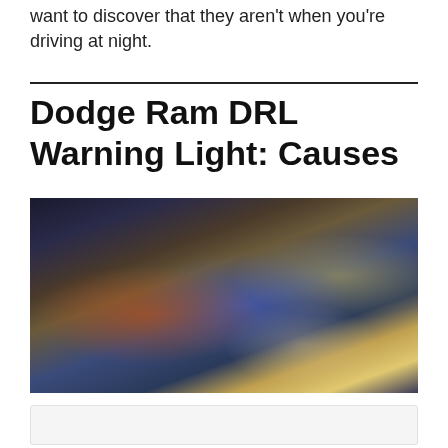want to discover that they aren't when you're driving at night.
Dodge Ram DRL Warning Light: Causes
[Figure (photo): A mechanic or technician holding a diagnostic scanner/tablet device, viewed from above, with vehicle dashboard controls visible in the background.]